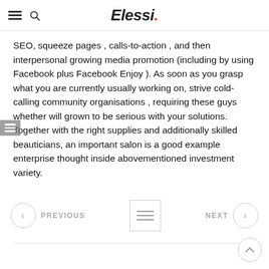Elessi.
SEO, squeeze pages , calls-to-action , and then interpersonal growing media promotion (including by using Facebook plus Facebook Enjoy ). As soon as you grasp what you are currently usually working on, strive cold-calling community organisations , requiring these guys whether will grown to be serious with your solutions. Together with the right supplies and additionally skilled beauticians, an important salon is a good example enterprise thought inside abovementioned investment variety.
PREVIOUS | menu | NEXT